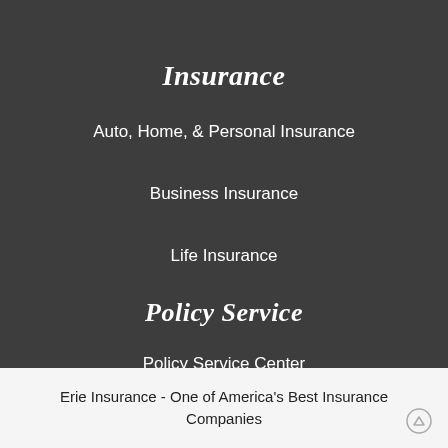Insurance
Auto, Home, & Personal Insurance
Business Insurance
Life Insurance
Policy Service
Policy Service Center
Erie Insurance - One of America's Best Insurance Companies